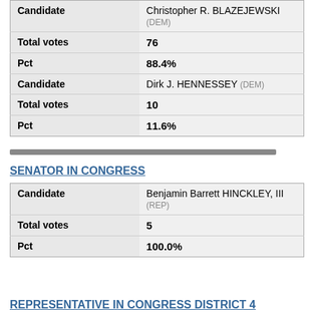|  |  |
| --- | --- |
| Candidate | Christopher R. BLAZEJEWSKI (DEM) |
| Total votes | 76 |
| Pct | 88.4% |
| Candidate | Dirk J. HENNESSEY (DEM) |
| Total votes | 10 |
| Pct | 11.6% |
SENATOR IN CONGRESS
|  |  |
| --- | --- |
| Candidate | Benjamin Barrett HINCKLEY, III (REP) |
| Total votes | 5 |
| Pct | 100.0% |
REPRESENTATIVE IN CONGRESS DISTRICT 4